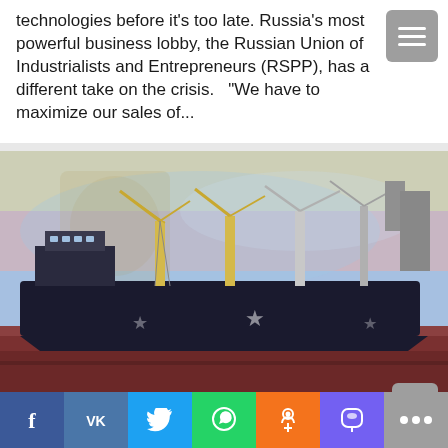technologies before it's too late. Russia's most powerful business lobby, the Russian Union of Industrialists and Entrepreneurs (RSPP), has a different take on the crisis.   "We have to maximize our sales of...
[Figure (photo): A large cargo ship docked at port with cranes visible, overlaid with a faded Venezuelan flag in the background sky.]
Russia's Rosneft Secretly Exporting